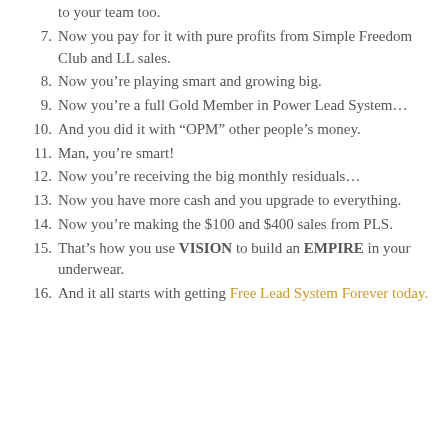to your team too.
7. Now you pay for it with pure profits from Simple Freedom Club and LL sales.
8. Now you're playing smart and growing big.
9. Now you're a full Gold Member in Power Lead System...
10. And you did it with “OPM” other people’s money.
11. Man, you’re smart!
12. Now you’re receiving the big monthly residuals...
13. Now you have more cash and you upgrade to everything.
14. Now you’re making the $100 and $400 sales from PLS.
15. That’s how you use VISION to build an EMPIRE in your underwear.
16. And it all starts with getting Free Lead System Forever today.